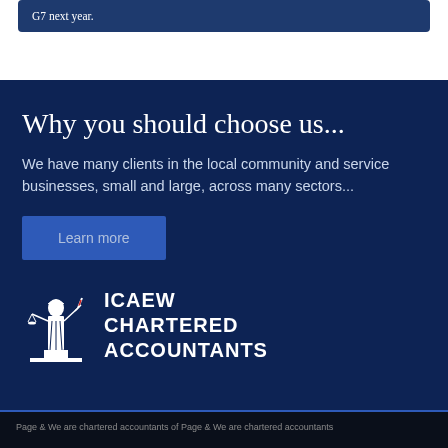G7 next year.
Why you should choose us...
We have many clients in the local community and service businesses, small and large, across many sectors...
Learn more
[Figure (logo): ICAEW Chartered Accountants logo — figure of Justice with scales and ICAEW CHARTERED ACCOUNTANTS text]
Page & We are chartered accountants of Page & We are chartered accountants